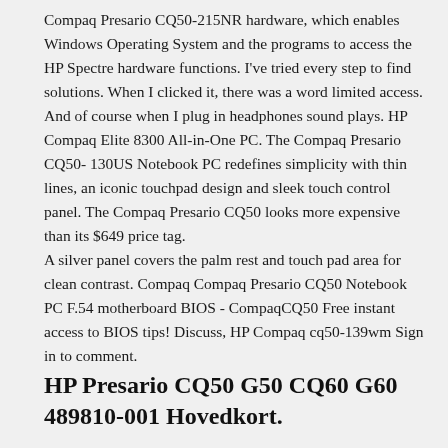Compaq Presario CQ50-215NR hardware, which enables Windows Operating System and the programs to access the HP Spectre hardware functions. I've tried every step to find solutions. When I clicked it, there was a word limited access. And of course when I plug in headphones sound plays. HP Compaq Elite 8300 All-in-One PC. The Compaq Presario CQ50- 130US Notebook PC redefines simplicity with thin lines, an iconic touchpad design and sleek touch control panel. The Compaq Presario CQ50 looks more expensive than its $649 price tag.
A silver panel covers the palm rest and touch pad area for clean contrast. Compaq Compaq Presario CQ50 Notebook PC F.54 motherboard BIOS - CompaqCQ50 Free instant access to BIOS tips! Discuss, HP Compaq cq50-139wm Sign in to comment.
HP Presario CQ50 G50 CQ60 G60 489810-001 Hovedkort.